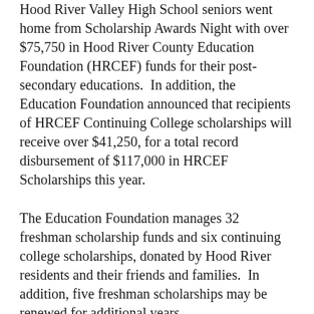Hood River Valley High School seniors went home from Scholarship Awards Night with over $75,750 in Hood River County Education Foundation (HRCEF) funds for their post-secondary educations.  In addition, the Education Foundation announced that recipients of HRCEF Continuing College scholarships will receive over $41,250, for a total record disbursement of $117,000 in HRCEF Scholarships this year.
The Education Foundation manages 32 freshman scholarship funds and six continuing college scholarships, donated by Hood River residents and their friends and families.  In addition, five freshman scholarships may be renewed for additional years.
Sixty-three different scholarships were awarded to